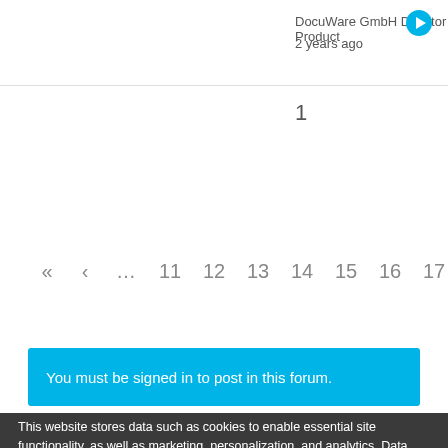DocuWare GmbH Director Product
2 years ago
1
« ‹ … 11 12 13 14 15 16 17
You must be signed in to post in this forum.
This website stores data such as cookies to enable essential site functionality, as well as marketing, personalization, and analytics. Data Storage Policy
Accept
Deny